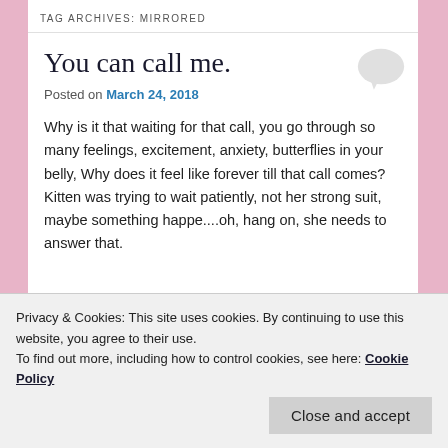TAG ARCHIVES: MIRRORED
You can call me.
Posted on March 24, 2018
Why is it that waiting for that call, you go through so many feelings, excitement, anxiety, butterflies in your belly, Why does it feel like forever till that call comes? Kitten was trying to wait patiently, not her strong suit, maybe something happe....oh, hang on, she needs to answer that.
Privacy & Cookies: This site uses cookies. By continuing to use this website, you agree to their use.
To find out more, including how to control cookies, see here: Cookie Policy